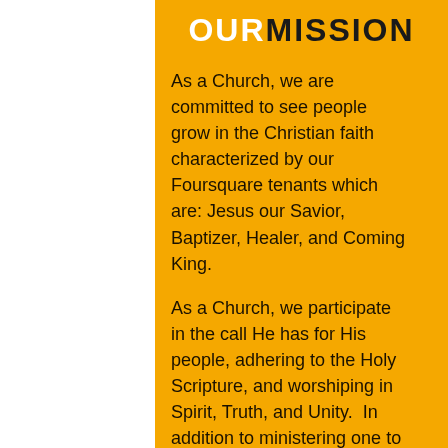OUR MISSION
As a Church, we are committed to see people grow in the Christian faith characterized by our Foursquare tenants which are: Jesus our Savior, Baptizer, Healer, and Coming King.
As a Church, we participate in the call He has for His people, adhering to the Holy Scripture, and worshiping in Spirit, Truth, and Unity.  In addition to ministering one to another with nurturing love and care, we endeavor to embrace the